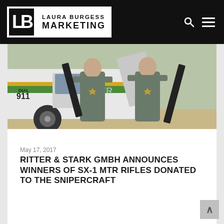LAURA BURGESS MARKETING
[Figure (photo): Two law enforcement officers in grey uniforms holding rifles, standing in front of a sheriff's vehicle with 'DIAL 911' and 'SHERIFF' text visible on the car door]
May 17, 2017
RITTER & STARK GMBH ANNOUNCES WINNERS OF SX-1 MTR RIFLES DONATED TO THE SNIPERCRAFT